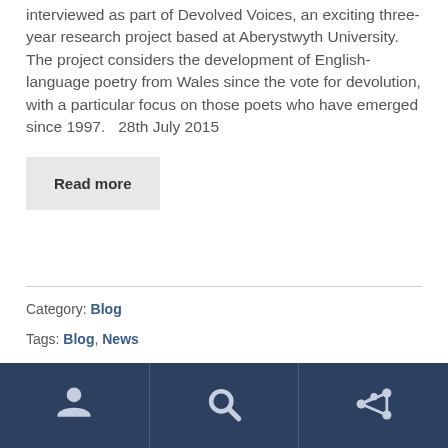interviewed as part of Devolved Voices, an exciting three-year research project based at Aberystwyth University. The project considers the development of English-language poetry from Wales since the vote for devolution, with a particular focus on those poets who have emerged since 1997.   28th July 2015
Read more
Category: Blog
Tags: Blog, News
[Figure (infographic): Dark navy footer bar with three icon sections separated by vertical lines: a person/user icon on the left, a search/magnifying glass icon in the center, and a network/social icon on the right.]